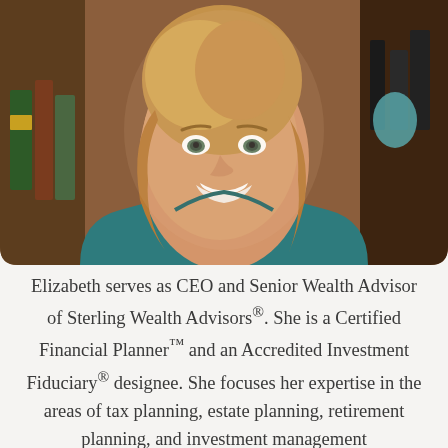[Figure (photo): Portrait photo of Elizabeth, a smiling woman with shoulder-length blonde hair wearing a teal/dark cyan top, photographed in a warm indoor setting with bookshelves in the background.]
Elizabeth serves as CEO and Senior Wealth Advisor of Sterling Wealth Advisors®. She is a Certified Financial Planner™ and an Accredited Investment Fiduciary® designee. She focuses her expertise in the areas of tax planning, estate planning, retirement planning, and investment management